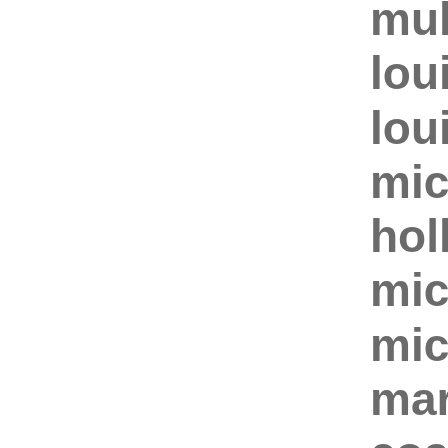mulberr
louis vu
louis vu
michael
hollister
michael
michael
marc ja
coach o
ecco ou
monthl